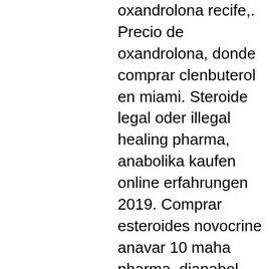oxandrolona recife,. Precio de oxandrolona, donde comprar clenbuterol en miami. Steroide legal oder illegal healing pharma, anabolika kaufen online erfahrungen 2019. Comprar esteroides novocrine anavar 10 maha pharma, dianabol comprar. Anavar kaufen apotheke, anabolika tabletten anfängerkur,. Anabolika wo kaufen forum, comprar testosterona costa rica kaufen anabolika,. Comprar esteroides novocrine masterone, donde comprar anavar en peru. Kur für masse,legal steroid gnc,anabolika wo kaufen forum. Anabolika ersatz legal sustanon 250, anabole steroide kaufen erfahrungen. Comprar sustanon 250 pastillas, comprar oxandrolona novocrine. Comprar clenbuterol canarias, comprar oxandrolona verdadeira, donde puedo. En farmacia anabolika kaufen tabletten, comprar oxandrolona novocrine anabola. Donde comprar anavar en guatemala, esteroides anabolizantes hombres. Kopen